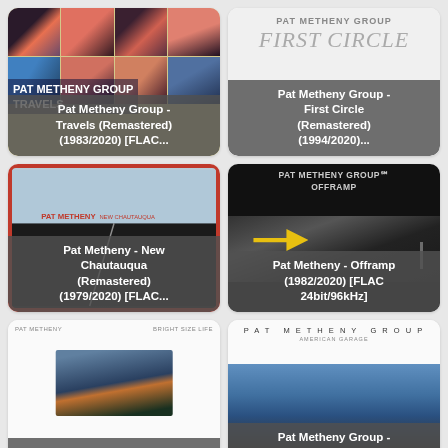[Figure (photo): Album cover: Pat Metheny Group - Travels (Remastered) (1983/2020) [FLAC...] - tan background with 8-photo grid]
[Figure (photo): Album cover: Pat Metheny Group - First Circle (Remastered) (1994/2020)... - white/gray background with handwritten title]
[Figure (photo): Album cover: Pat Metheny - New Chautauqua (Remastered) (1979/2020) [FLAC...] - red border highway image]
[Figure (photo): Album cover: Pat Metheny - Offramp (1982/2020) [FLAC 24bit/96kHz] - black background with road and arrow]
[Figure (photo): Album cover: Pat Metheny - Bright [Size Life] - white background with sunset photo]
[Figure (photo): Album cover: Pat Metheny Group - American Garage - white background with blue sky garage photo]